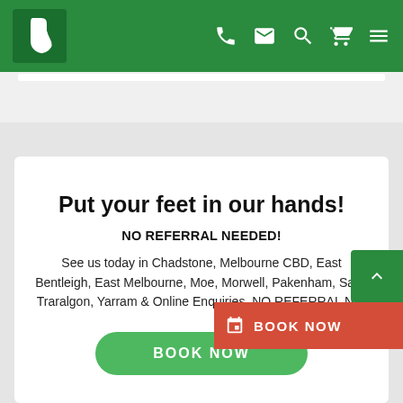Navigation bar with logo and icons: phone, email, search, cart, menu
Put your feet in our hands!
NO REFERRAL NEEDED!
See us today in Chadstone, Melbourne CBD, East Bentleigh, East Melbourne, Moe, Morwell, Pakenham, Sale, Traralgon, Yarram & Online Enquiries. NO REFERRAL N…
BOOK NOW